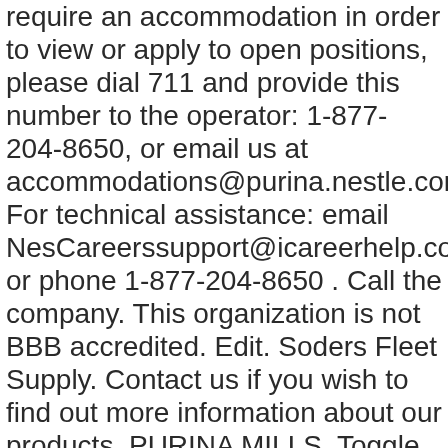require an accommodation in order to view or apply to open positions, please dial 711 and provide this number to the operator: 1-877-204-8650, or email us at accommodations@purina.nestle.com For technical assistance: email NesCareerssupport@icareerhelp.com or phone 1-877-204-8650 . Call the company. This organization is not BBB accredited. Edit. Soders Fleet Supply. Contact us if you wish to find out more information about our products. PURINA MILLS. Toggle Mobile Menu. Please contact us for in-store availability. Dog Products Dog Products sub-menu Dog Products sub-menu. Business Overview "Purina Mills Inc" of Nashville, TN 37204 operates primarily in SIC Code 2048 - Prepared Feed and Feed Ingredients for Animals and Fowls, except Dogs and Cats and NAICS Code 311119 - Other Animal Food Manufacturing.Purina Mills Inc is a medium-sized business with medium revenue, that is well-established in its industry. Claim your business to